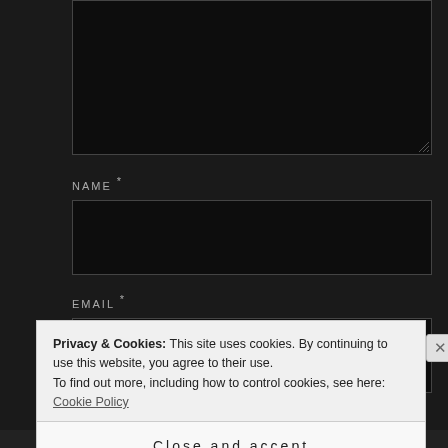[Figure (screenshot): Dark-themed web form with a comment textarea (cropped at top), NAME field, EMAIL field, and WEBSITE label visible. A cookie consent banner overlays the bottom portion with text about Privacy & Cookies policy and a 'Close and accept' button. A small X close button is on the right of the banner. At the very bottom is a progress/navigation bar with orange, dark, and gray segments.]
NAME *
EMAIL *
WEBSITE
Privacy & Cookies: This site uses cookies. By continuing to use this website, you agree to their use.
To find out more, including how to control cookies, see here: Cookie Policy
Close and accept